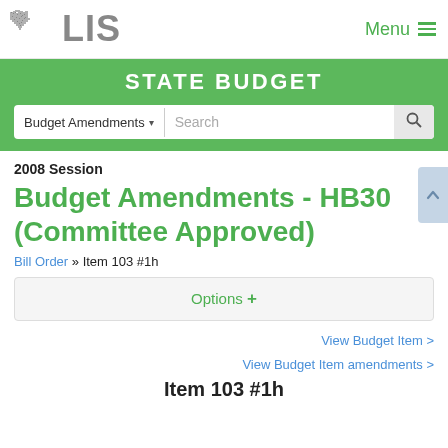[Figure (logo): Virginia LIS logo with state outline and LIS text]
Menu
STATE BUDGET
Budget Amendments ▾   Search
2008 Session
Budget Amendments - HB30 (Committee Approved)
Bill Order » Item 103 #1h
Options +
View Budget Item >
View Budget Item amendments >
Item 103 #1h